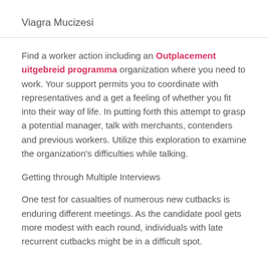Viagra Mucizesi
Find a worker action including an Outplacement uitgebreid programma organization where you need to work. Your support permits you to coordinate with representatives and a get a feeling of whether you fit into their way of life. In putting forth this attempt to grasp a potential manager, talk with merchants, contenders and previous workers. Utilize this exploration to examine the organization's difficulties while talking.
Getting through Multiple Interviews
One test for casualties of numerous new cutbacks is enduring different meetings. As the candidate pool gets more modest with each round, individuals with late recurrent cutbacks might be in a difficult spot.